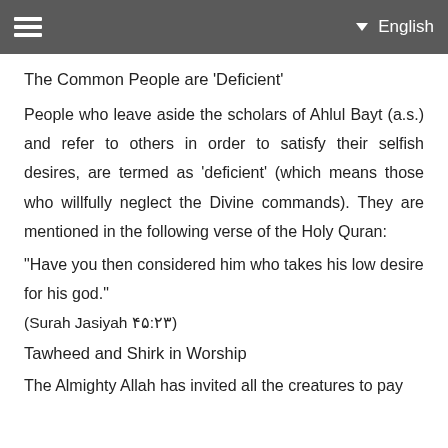≡  English
The Common People are 'Deficient'
People who leave aside the scholars of Ahlul Bayt (a.s.) and refer to others in order to satisfy their selfish desires, are termed as 'deficient' (which means those who willfully neglect the Divine commands). They are mentioned in the following verse of the Holy Quran:
"Have you then considered him who takes his low desire for his god."
(Surah Jasiyah ۴۵:۲۳)
Tawheed and Shirk in Worship
The Almighty Allah has invited all the creatures to pay